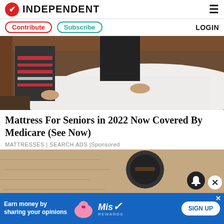INDEPENDENT
[Figure (photo): Person leaning over a white mattress on a wooden bed frame]
Mattress For Seniors in 2022 Now Covered By Medicare (See Now)
MATTRESSES | SEARCH ADS | Sponsored
[Figure (photo): Partially visible second advertisement image with close button and bell notification button]
Earn money by sharing your opinions   SIGN UP